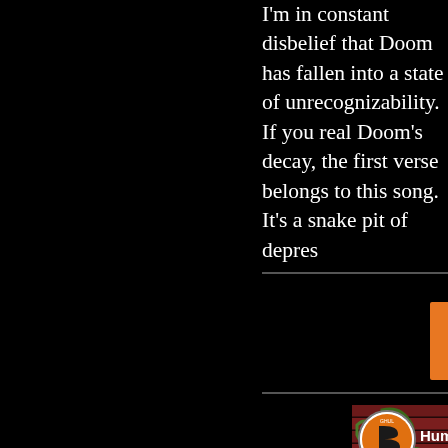I'm in constant disbelief that Doom has fallen into a state of unrecognizability. If you really want to feel Doom's decay, the first verse belongs to this song. It's a snake pit of depres
[Figure (screenshot): YouTube video thumbnail showing a graffiti brick wall scene with a user avatar (HumbleBoys2015 logo) and username 'HumbleBoys2015 Vito' overlaid at the top]